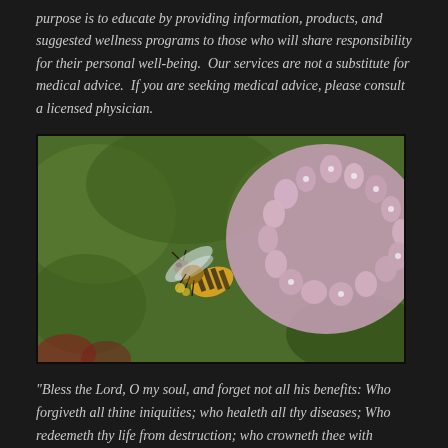purpose is to educate by providing information, products, and suggested wellness programs to those who will share responsibility for their personal well-being.  Our services are not a substitute for medical advice.  If you are seeking medical advice, please consult a licensed physician.
[Figure (photo): Close-up photograph of a honeybee hovering near and feeding on pink/lavender allium or similar clustered flower blooms, with a blurred green garden background.]
"Bless the Lord, O my soul, and forget not all his benefits: Who forgiveth all thine iniquities; who healeth all thy diseases; Who redeemeth thy life from destruction; who crowneth thee with lovingkindness and tender mercies;